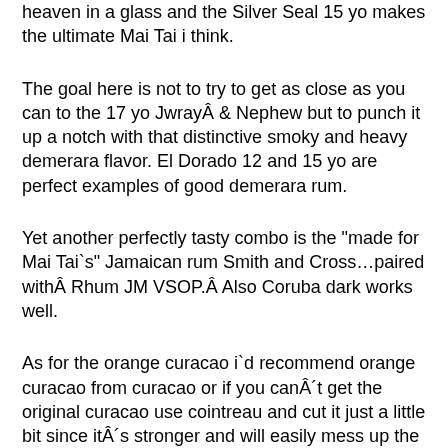heaven in a glass and the Silver Seal 15 yo makes the ultimate Mai Tai i think.
The goal here is not to try to get as close as you can to the 17 yo JwrayÂ & Nephew but to punch it up a notch with that distinctive smoky and heavy demerara flavor. El Dorado 12 and 15 yo are perfect examples of good demerara rum.
Yet another perfectly tasty combo is the "made for Mai Tai`s" Jamaican rum Smith and Cross...paired withÂ Rhum JM VSOP.Â Also Coruba dark works well.
As for the orange curacao i`d recommend orange curacao from curacao or if you canÂ´t get the original curacao use cointreau and cut it just a little bit since itÂ´s stronger and will easily mess up the Mai Tai if too much is used. It`s not an original Mai Tai with cointreau though so try get the orange curacao if you can.